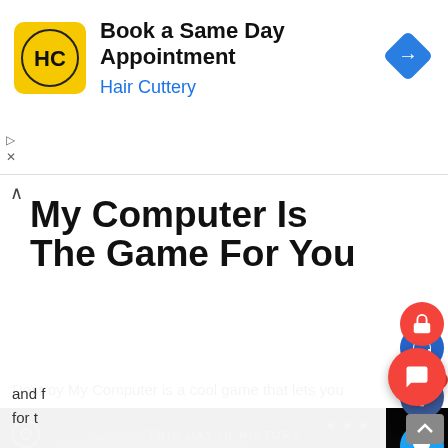[Figure (screenshot): Hair Cuttery ad banner: Book a Same Day Appointment, Hair Cuttery, with logo and navigation icon]
My Computer Is The Game For You
Destroy My Computer is a cool game that lets you with your virtual yboard, a monitor s game is simple. to within an inch or curing bored
[Figure (screenshot): Dark video player showing 'This Day In History' with play button triangles and AUGUST label at bottom]
and f for t